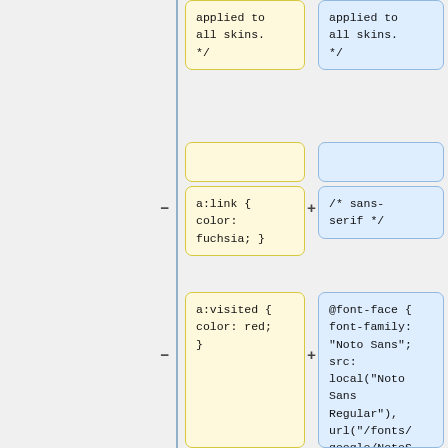[Figure (screenshot): Diff view showing two columns of CSS code snippets. Left column (yellow background) shows removed code, right column (blue background) shows added code. Top row shows text 'applied to all skins. */' in both columns. Middle row left shows 'a:link { color: fuchsia; }', right shows '/* sans-serif */'. Bottom row left shows 'a:visited { color: red; }', right shows '@font-face { font-family: "Noto Sans"; src: local("Noto Sans Regular"), url("/fonts/google/NotoSans-Regular.ttf"); font-display:'. Minus and plus signs indicate removed/added lines on a vertical divider.]